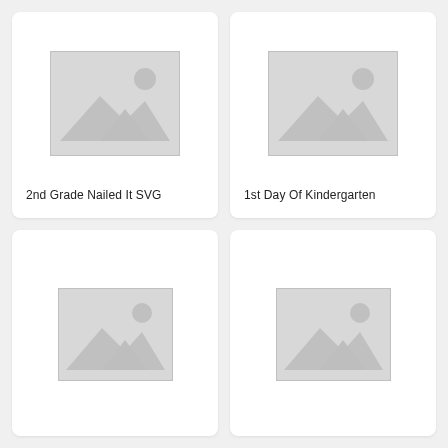[Figure (illustration): Placeholder image icon with mountain and sun silhouette]
2nd Grade Nailed It SVG
[Figure (illustration): Placeholder image icon with mountain and sun silhouette]
1st Day Of Kindergarten
[Figure (illustration): Placeholder image icon with mountain and sun silhouette]
[Figure (illustration): Placeholder image icon with mountain and sun silhouette]